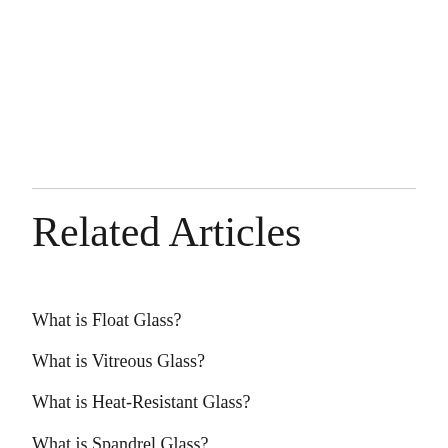Related Articles
What is Float Glass?
What is Vitreous Glass?
What is Heat-Resistant Glass?
What is Spandrel Glass?